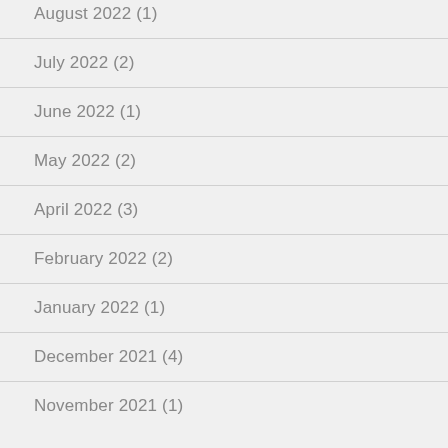August 2022 (1)
July 2022 (2)
June 2022 (1)
May 2022 (2)
April 2022 (3)
February 2022 (2)
January 2022 (1)
December 2021 (4)
November 2021 (1)